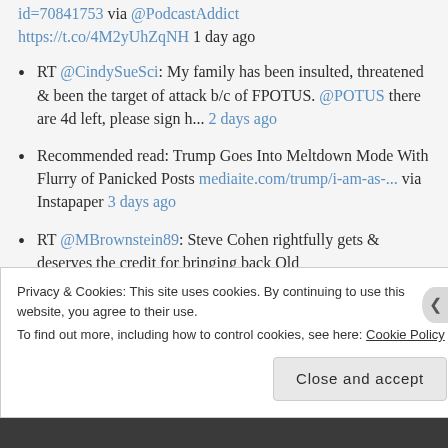id=70841753 via @PodcastAddict https://t.co/4M2yUhZqNH 1 day ago
RT @CindySueSci: My family has been insulted, threatened & been the target of attack b/c of FPOTUS. @POTUS there are 4d left, please sign h... 2 days ago
Recommended read: Trump Goes Into Meltdown Mode With Flurry of Panicked Posts mediaite.com/trump/i-am-as-... via Instapaper 3 days ago
RT @MBrownstein89: Steve Cohen rightfully gets & deserves the credit for bringing back Old
Privacy & Cookies: This site uses cookies. By continuing to use this website, you agree to their use.
To find out more, including how to control cookies, see here: Cookie Policy
Close and accept